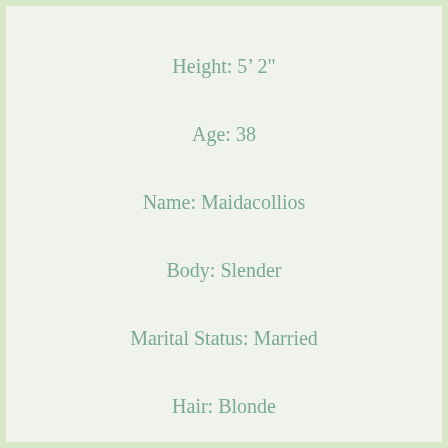Height: 5' 2"
Age: 38
Name: Maidacollios
Body: Slender
Marital Status: Married
Hair: Blonde
City: Versailles, NY 14168